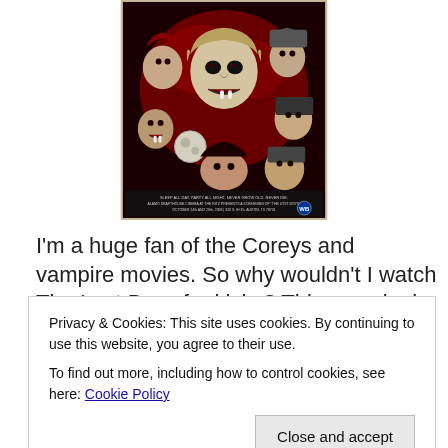[Figure (illustration): Movie poster for The Lost Boys — red and black illustrated poster featuring multiple vampire characters with fangs, dramatic expressions. Central large face with glowing eyes, surrounded by other characters. Text at bottom reads event details for Alamo Drafthouse Cinema screening.]
I'm a huge fan of the Coreys and vampire movies. So why wouldn't I watch The Lost Boys for kicks? This amazingly
Privacy & Cookies: This site uses cookies. By continuing to use this website, you agree to their use.
To find out more, including how to control cookies, see here: Cookie Policy
Close and accept
What could be better about the original Lost Boys?